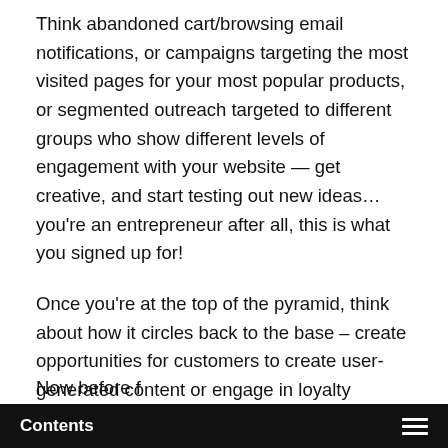Think abandoned cart/browsing email notifications, or campaigns targeting the most visited pages for your most popular products, or segmented outreach targeted to different groups who show different levels of engagement with your website — get creative, and start testing out new ideas… you're an entrepreneur after all, this is what you signed up for!
Once you're at the top of the pyramid, think about how it circles back to the base – create opportunities for customers to create user-generated content or engage in loyalty programs which will in turn inspire other customers to act as brand ambassadors and get their friends and family members to sign up.
Now before you go putting this plan...
Contents